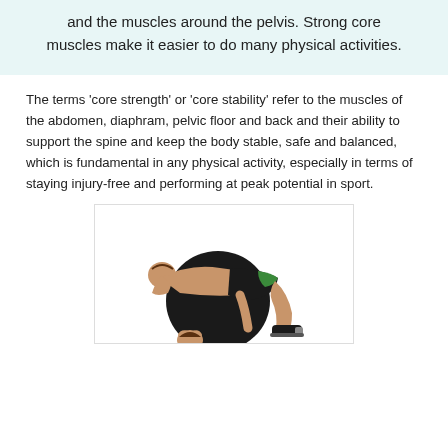and the muscles around the pelvis. Strong core muscles make it easier to do many physical activities.
The terms 'core strength' or 'core stability' refer to the muscles of the abdomen, diaphram, pelvic floor and back and their ability to support the spine and keep the body stable, safe and balanced, which is fundamental in any physical activity, especially in terms of staying injury-free and performing at peak potential in sport.
[Figure (photo): A man performing an exercise on a large black stability/exercise ball, leaning back over the ball with his upper back and head arched over it, wearing dark shorts and sneakers. Below, partially visible, is another person (head only).]